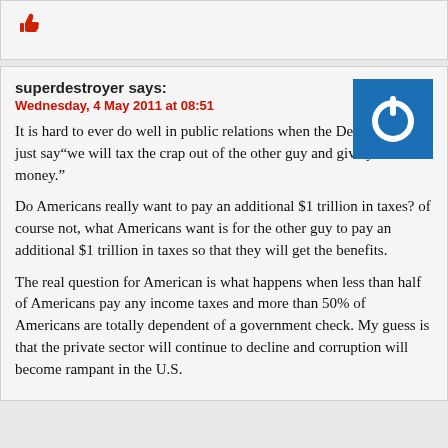[Figure (illustration): Red thumbs-up icon]
superdestroyer says:
Wednesday, 4 May 2011 at 08:51
[Figure (logo): Blue square with white power button icon]
It is hard to ever do well in public relations when the Democrats can just say“we will tax the crap out of the other guy and give you the money.”
Do Americans really want to pay an additional $1 trillion in taxes? of course not, what Americans want is for the other guy to pay an additional $1 trillion in taxes so that they will get the benefits.
The real question for American is what happens when less than half of Americans pay any income taxes and more than 50% of Americans are totally dependent of a government check. My guess is that the private sector will continue to decline and corruption will become rampant in the U.S.